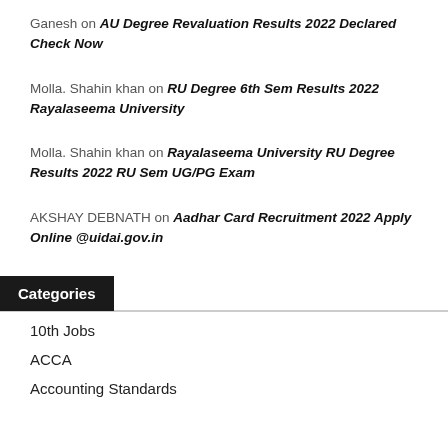Ganesh on AU Degree Revaluation Results 2022 Declared Check Now
Molla. Shahin khan on RU Degree 6th Sem Results 2022 Rayalaseema University
Molla. Shahin khan on Rayalaseema University RU Degree Results 2022 RU Sem UG/PG Exam
AKSHAY DEBNATH on Aadhar Card Recruitment 2022 Apply Online @uidai.gov.in
Categories
10th Jobs
ACCA
Accounting Standards